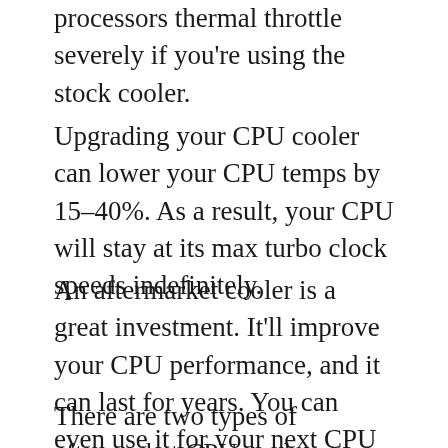processors thermal throttle severely if you're using the stock cooler.
Upgrading your CPU cooler can lower your CPU temps by 15–40%. As a result, your CPU will stay at its max turbo clock speeds indefinitely.
An aftermarket cooler is a great investment. It'll improve your CPU performance, and it can last for years. You can even use it for your next CPU in the future.
There are two types of aftermarket CPU coolers to consider: air and AIO water coolers.